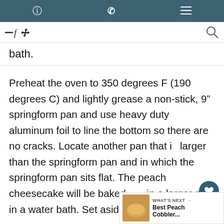Pinterest  Facebook  Twitter
bath.
Preheat the oven to 350 degrees F (190 degrees C) and lightly grease a non-stick, 9” springform pan and use heavy duty aluminum foil to line the bottom so there are no cracks. Locate another pan that is larger than the springform pan and in which the springform pan sits flat. The peach cheesecake will be baked in the larger pan in a water bath. Set aside.